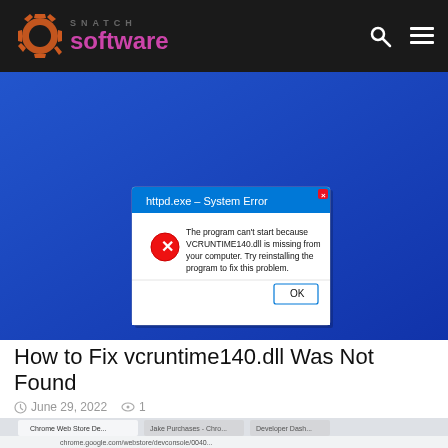SNATCH software
[Figure (screenshot): Windows System Error dialog box: httpd.exe - System Error. The program can't start because VCRUNTIME140.dll is missing from your computer. Try reinstalling the program to fix this problem. OK button. Blue desktop background.]
How to Fix vcruntime140.dll Was Not Found
June 29, 2022  1
[Figure (screenshot): Chrome Web Store Developer Dashboard showing Private Notes 3.8 extension panel with notes list including 'hello world' and 'secret stuff', and a text editor with Rick Astley lyrics and a YouTube URL.]